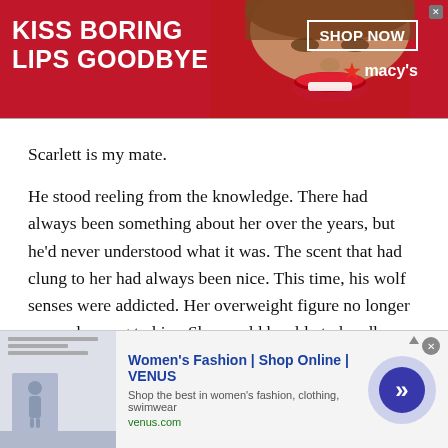[Figure (photo): Top advertisement banner for Macy's cosmetics: red background, woman's face with red lips in center, text 'KISS BORING LIPS GOODBYE' on left, 'SHOP NOW' button and Macy's star logo on right.]
Scarlett is my mate.
He stood reeling from the knowledge. There had always been something about her over the years, but he'd never understood what it was. The scent that had clung to her had always been nice. This time, his wolf senses were addicted. Her overweight figure no longer seemed wrong to him. She would be able to handle him, take his****** warm body. Scarlett was built to be his mate, to handle his wolf.
[Figure (screenshot): Bottom advertisement for VENUS women's fashion website, showing website thumbnail, title 'Women's Fashion | Shop Online | VENUS', description 'Shop the best in women's fashion, clothing, swimwear', URL venus.com, and a blue arrow circle button.]